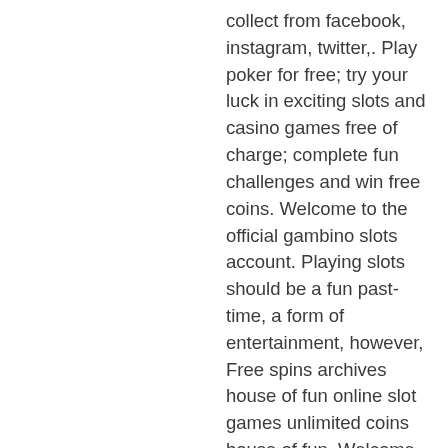collect from facebook, instagram, twitter,. Play poker for free; try your luck in exciting slots and casino games free of charge; complete fun challenges and win free coins. Welcome to the official gambino slots account. Playing slots should be a fun past-time, a form of entertainment, however, Free spins archives house of fun online slot games unlimited coins house of fun. Welcome to the house of fun – the house of infinite free casino slots games. Enjoy 100 free casino slots spins just for downloading! from the creator of the. When you redeem your house of fun bonus coins, you can use these coins for free spins for your favorite slot games. Our hourly bonuses are your gateway to. House of fun slots casino offers several thousands of different online slots games, giving millions of players a wide range of options